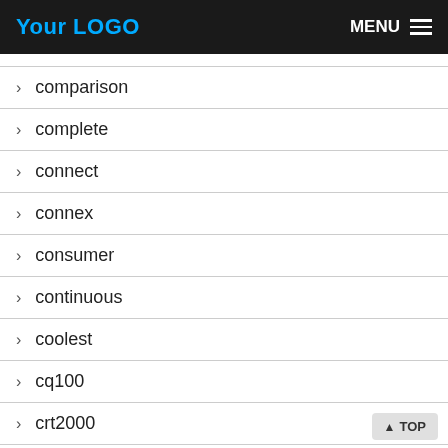Your LOGO  MENU
> comparison
> complete
> connect
> connex
> consumer
> continuous
> coolest
> cq100
> crt2000
> crye
> cs580